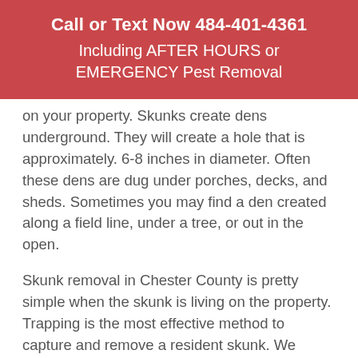Call or Text Now 484-401-4361
Including AFTER HOURS or EMERGENCY Pest Removal
on your property. Skunks create dens underground. They will create a hole that is approximately. 6-8 inches in diameter. Often these dens are dug under porches, decks, and sheds. Sometimes you may find a den created along a field line, under a tree, or out in the open.
Skunk removal in Chester County is pretty simple when the skunk is living on the property. Trapping is the most effective method to capture and remove a resident skunk. We provide some excellent trapping techniques in the section below.
Skunk Not Living on your Property